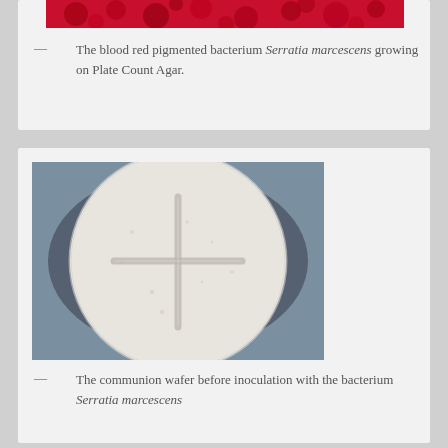[Figure (photo): Close-up photo of blood red pigmented Serratia marcescens bacteria colonies growing on Plate Count Agar — top portion of image visible, showing red circular colonies.]
— The blood red pigmented bacterium Serratia marcescens growing on Plate Count Agar.
[Figure (photo): Photo of a circular white communion wafer on a blue-grey background. The wafer has a cross-shaped indentation pressed into its surface.]
— The communion wafer before inoculation with the bacterium Serratia marcescens